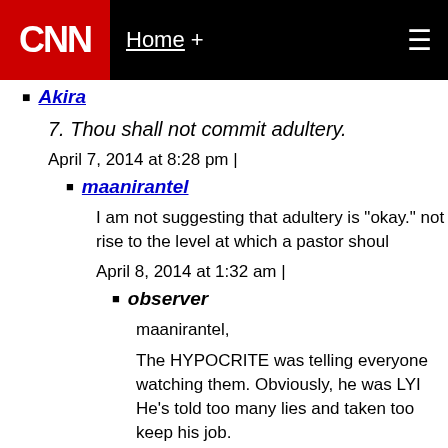CNN Home +
Akira
7. Thou shall not commit adultery.
April 7, 2014 at 8:28 pm |
maanirantel
I am not suggesting that adultery is "okay." not rise to the level at which a pastor shoul
April 8, 2014 at 1:32 am |
observer
maanirantel,
The HYPOCRITE was telling everyone watching them. Obviously, he was LYI He's told too many lies and taken too keep his job.
April 8, 2014 at 1:35 am |